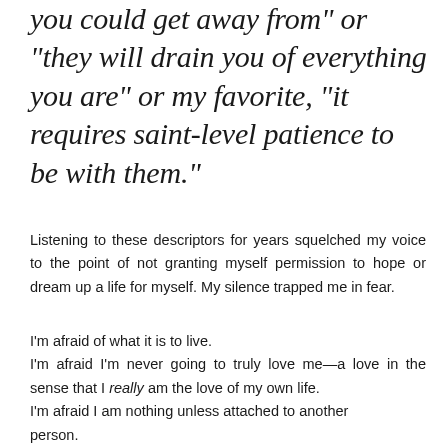you could get away from" or "they will drain you of everything you are" or my favorite, "it requires saint-level patience to be with them."
Listening to these descriptors for years squelched my voice to the point of not granting myself permission to hope or dream up a life for myself. My silence trapped me in fear.
I'm afraid of what it is to live.
I'm afraid I'm never going to truly love me—a love in the sense that I really am the love of my own life.
I'm afraid I am nothing unless attached to another person.